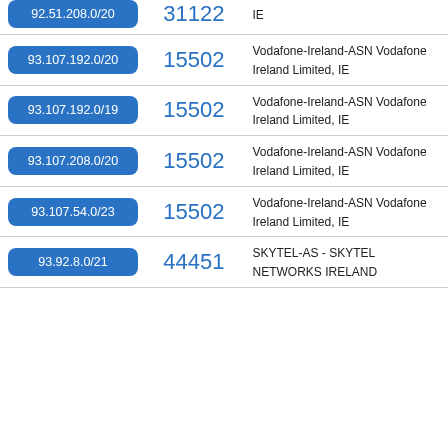| IP Range | ASN | Organization |
| --- | --- | --- |
| 92.51.208.0/20 | 31122 | IE |
| 93.107.192.0/20 | 15502 | Vodafone-Ireland-ASN Vodafone Ireland Limited, IE |
| 93.107.192.0/19 | 15502 | Vodafone-Ireland-ASN Vodafone Ireland Limited, IE |
| 93.107.208.0/20 | 15502 | Vodafone-Ireland-ASN Vodafone Ireland Limited, IE |
| 93.107.54.0/23 | 15502 | Vodafone-Ireland-ASN Vodafone Ireland Limited, IE |
| 93.92.8.0/21 | 44451 | SKYTEL-AS - SKYTEL NETWORKS IRELAND |